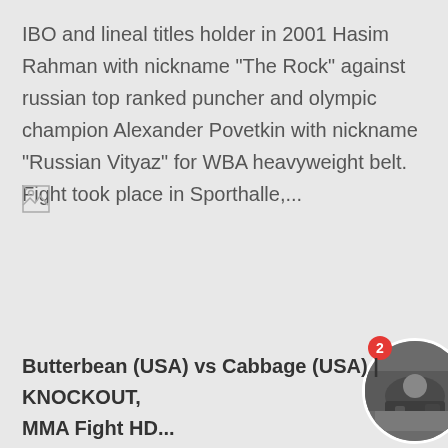IBO and lineal titles holder in 2001 Hasim Rahman with nickname "The Rock" against russian top ranked puncher and olympic champion Alexander Povetkin with nickname "Russian Vityaz" for WBA heavyweight belt. Fight took place in Sporthalle,...
[Figure (photo): Broken image icon placeholder]
[Figure (photo): Circular thumbnail image of an MMA fight scene, with a red badge showing the number 2]
Butterbean (USA) vs Cabbage (USA) | KNOCKOUT, MMA Fight HD...